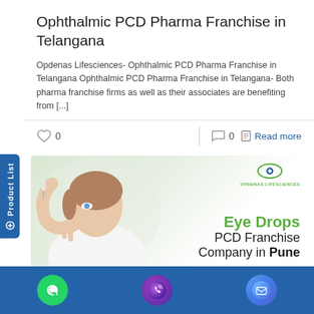Ophthalmic PCD Pharma Franchise in Telangana
Opdenas Lifesciences- Ophthalmic PCD Pharma Franchise in Telangana Ophthalmic PCD Pharma Franchise in Telangana- Both pharma franchise firms as well as their associates are benefiting from [...]
[Figure (screenshot): Banner image showing woman applying eye drops with text 'Eye Drops PCD Franchise Company in Pune' and Opdenas Lifesciences logo]
[Figure (infographic): Bottom navigation bar with WhatsApp, phone call, and email icons on blue background]